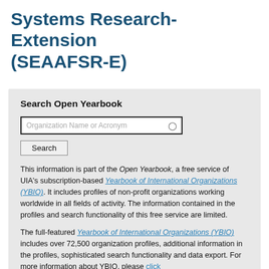Systems Research-Extension (SEAAFSR-E)
Search Open Yearbook
[Figure (screenshot): Search box UI with text input labeled 'Organization Name or Acronym' and a Search button]
This information is part of the Open Yearbook, a free service of UIA's subscription-based Yearbook of International Organizations (YBIO). It includes profiles of non-profit organizations working worldwide in all fields of activity. The information contained in the profiles and search functionality of this free service are limited.
The full-featured Yearbook of International Organizations (YBIO) includes over 72,500 organization profiles, additional information in the profiles, sophisticated search functionality and data export. For more information about YBIO, please click